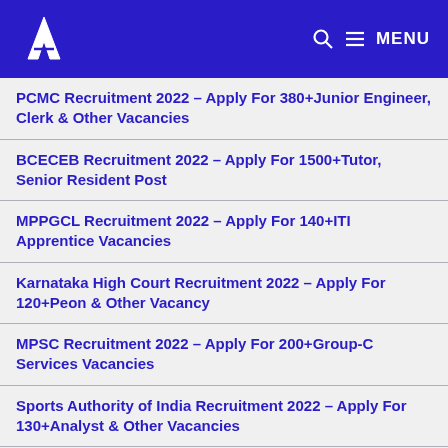A MENU
PCMC Recruitment 2022 – Apply For 380+Junior Engineer, Clerk & Other Vacancies
BCECEB Recruitment 2022 – Apply For 1500+Tutor, Senior Resident Post
MPPGCL Recruitment 2022 – Apply For 140+ITI Apprentice Vacancies
Karnataka High Court Recruitment 2022 – Apply For 120+Peon & Other Vacancy
MPSC Recruitment 2022 – Apply For 200+Group-C Services Vacancies
Sports Authority of India Recruitment 2022 – Apply For 130+Analyst & Other Vacancies
HECL Recruitment 2022 – Apply For 70+Apprentice Vacancies
OSSC Recruitment 2022 – Apply For 220+JEA & BSSO